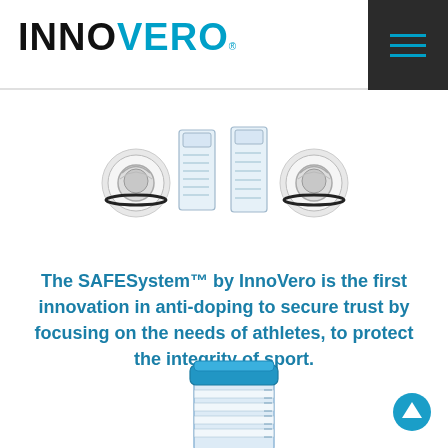InnoVero
[Figure (photo): Four product components of the SAFESystem: two white screw cap adapters and two transparent collection vials with measurement markings]
The SAFESystem™ by InnoVero is the first innovation in anti-doping to secure trust by focusing on the needs of athletes, to protect the integrity of sport.
[Figure (photo): Close-up of a blue-capped transparent collection vial with measurement markings on the side]